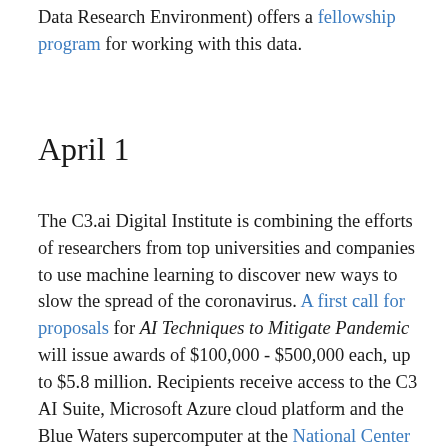Data Research Environment) offers a fellowship program for working with this data.
April 1
The C3.ai Digital Institute is combining the efforts of researchers from top universities and companies to use machine learning to discover new ways to slow the spread of the coronavirus. A first call for proposals for AI Techniques to Mitigate Pandemic will issue awards of $100,000 - $500,000 each, up to $5.8 million. Recipients receive access to the C3 AI Suite, Microsoft Azure cloud platform and the Blue Waters supercomputer at the National Center for Supercomputing Applications in Illinois.